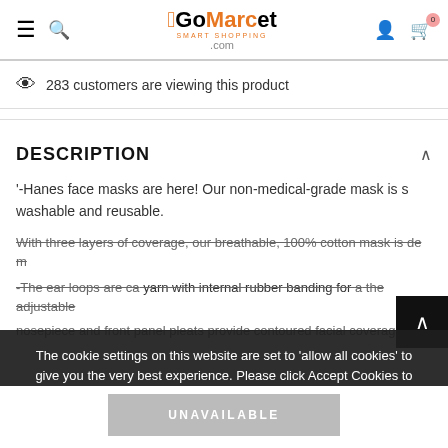GoMarcet.com - Smart Shopping
283 customers are viewing this product
DESCRIPTION
'-Hanes face masks are here! Our non-medical-grade mask is s washable and reusable.
With three layers of coverage, our breathable, 100% cotton mask is de m
-The ear loops are ca yarn with internal rubber banding for a the adjustable nosepiece and front panel pleats provide contoured facial coverage
The cookie settings on this website are set to 'allow all cookies' to give you the very best experience. Please click Accept Cookies to continue to use the site.
PRIVACY POLICY   ACCEPT ✔
UNAVAILABLE